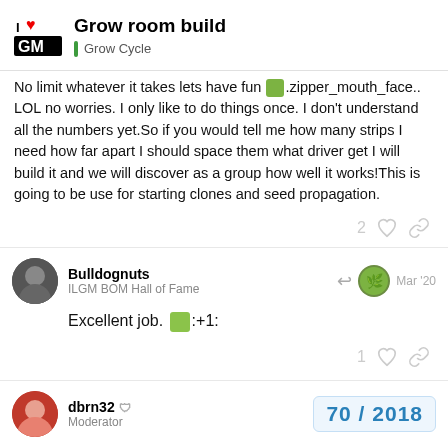Grow room build | Grow Cycle
No limit whatever it takes lets have fun 🤐.zipper_mouth_face.. LOL no worries. I only like to do things once. I don't understand all the numbers yet.So if you would tell me how many strips I need how far apart I should space them what driver get I will build it and we will discover as a group how well it works!This is going to be use for starting clones and seed propagation.
2 ♡ 🔗
Bulldognuts
ILGM BOM Hall of Fame
Mar '20
Excellent job. 👍:+1:
1 ♡ 🔗
dbrn32 🛡 Moderator
70 / 2018